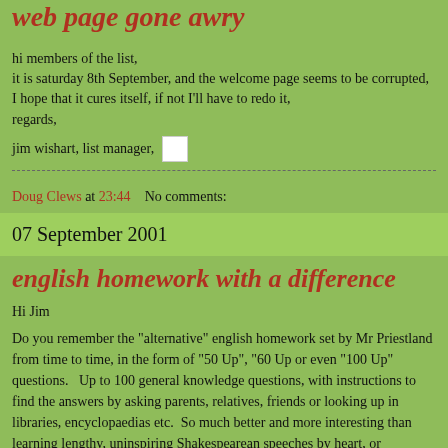web page gone awry
hi members of the list,
it is saturday 8th September, and the welcome page seems to be corrupted, I hope that it cures itself, if not I'll have to redo it,
regards,
jim wishart, list manager,
Doug Clews at 23:44    No comments:
07 September 2001
english homework with a difference
Hi Jim
Do you remember the "alternative" english homework set by Mr Priestland from time to time, in the form of "50 Up", "60 Up or even "100 Up" questions.   Up to 100 general knowledge questions, with instructions to find the answers by asking parents, relatives, friends or looking up in libraries, encyclopaedias etc.  So much better and more interesting than learning lengthy, uninspiring Shakespearean speeches by heart, or analyzing grammatically some rather dry and obscure sentences.  Here were instead some nice, gentle brainteasers, of relevance to the real